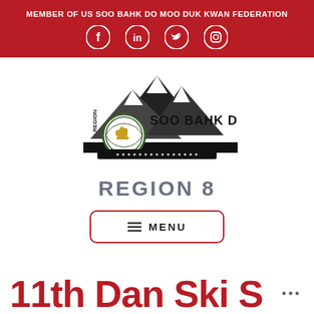MEMBER OF US SOO BAHK DO MOO DUK KWAN FEDERATION
[Figure (logo): Social media icons: Facebook, LinkedIn, Twitter, Instagram on red background]
[Figure (logo): Region 8 Soo Bahk Do logo with mountain and fist emblem]
REGION 8
≡ MENU
11th Dan Ski S...